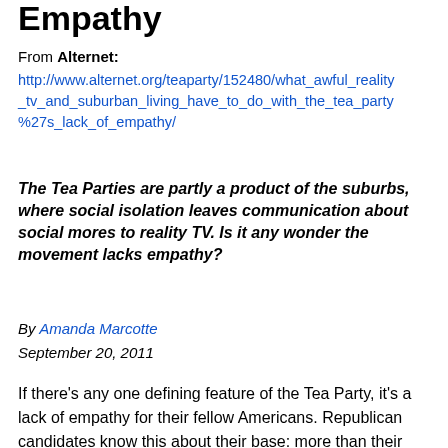Empathy
From Alternet:
http://www.alternet.org/teaparty/152480/what_awful_reality_tv_and_suburban_living_have_to_do_with_the_tea_party%27s_lack_of_empathy/
The Tea Parties are partly a product of the suburbs, where social isolation leaves communication about social mores to reality TV. Is it any wonder the movement lacks empathy?
By Amanda Marcotte
September 20, 2011
If there's any one defining feature of the Tea Party, it's a lack of empathy for their fellow Americans. Republican candidates know this about their base: more than their